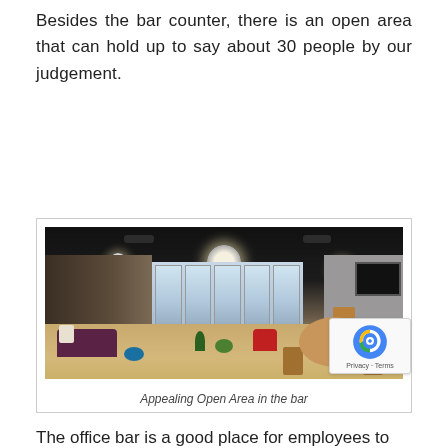Besides the bar counter, there is an open area that can hold up to say about 30 people by our judgement.
[Figure (photo): Interior photo of a modern open-area lounge/bar space with dark ceiling, pendant lights, large windows, colorful seating including purple sofas, red chairs, green and blue ottomans, a round wooden dining table with chairs on the right, and a plant in the center. Wood-plank flooring visible.]
Appealing Open Area in the bar
The office bar is a good place for employees to